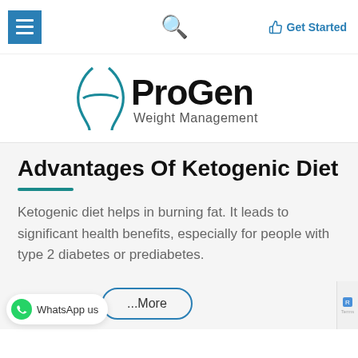☰  🔍  👍 Get Started
[Figure (logo): ProGen Weight Management logo with stylized figure silhouette in teal/black]
Advantages Of Ketogenic Diet
Ketogenic diet helps in burning fat. It leads to significant health benefits, especially for people with type 2 diabetes or prediabetes.
Learn More
WhatsApp us